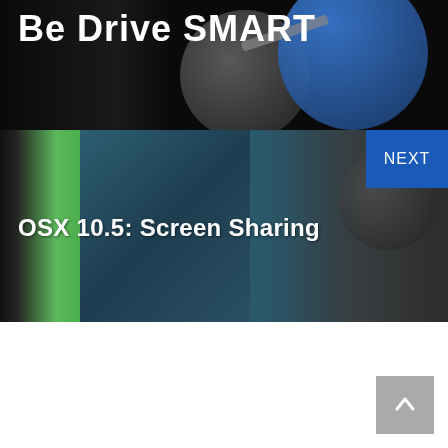Be Drive SMART
[Figure (screenshot): Dark banner with hard drive imagery showing HDD platters and arm in black background]
[Figure (screenshot): Mid-section banner showing OSX Screen Sharing topic with green panel, monitor screen, and NEXT navigation button on dark overlay background]
OSX 10.5: Screen Sharing
NEXT